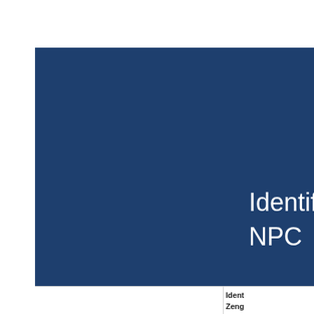Identif NPC Zeng Y
|  | Ident Zeng |
| --- | --- |